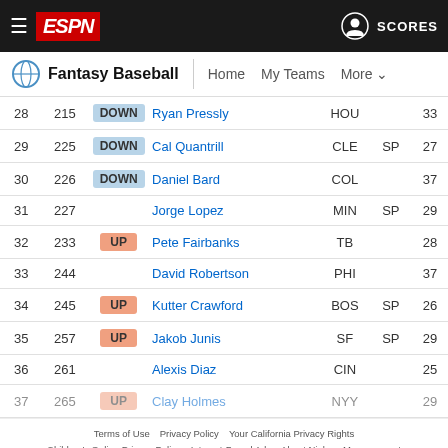ESPN Fantasy Baseball — Home | My Teams | More
|  |  |  | Player | Team | Pos | Age |
| --- | --- | --- | --- | --- | --- | --- |
| 28 | 215 | DOWN | Ryan Pressly | HOU |  | 33 |
| 29 | 225 | DOWN | Cal Quantrill | CLE | SP | 27 |
| 30 | 226 | DOWN | Daniel Bard | COL |  | 37 |
| 31 | 227 |  | Jorge Lopez | MIN | SP | 29 |
| 32 | 233 | UP | Pete Fairbanks | TB |  | 28 |
| 33 | 244 |  | David Robertson | PHI |  | 37 |
| 34 | 245 | UP | Kutter Crawford | BOS | SP | 26 |
| 35 | 257 | UP | Jakob Junis | SF | SP | 29 |
| 36 | 261 |  | Alexis Diaz | CIN |  | 25 |
| 37 | 265 | UP | Clay Holmes | NYY |  | 29 |
Terms of Use  Privacy Policy  Your California Privacy Rights  Children's Online Privacy Policy  Interest-Based Ads  About Nielsen Measurement  Do Not Sell My Info  Contact Us  Disney Ad Sales Site  Work for ESPN  Copyright: © ESPN Enterprises, Inc. All rights reserved.